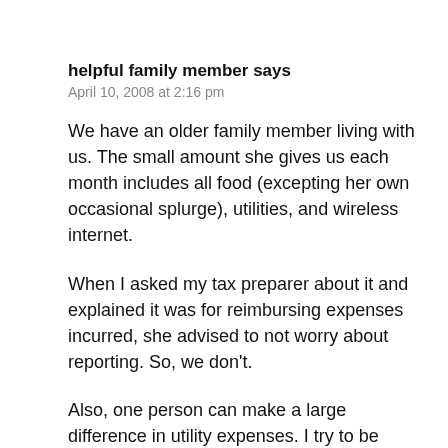helpful family member says
April 10, 2008 at 2:16 pm
We have an older family member living with us. The small amount she gives us each month includes all food (excepting her own occasional splurge), utilities, and wireless internet.
When I asked my tax preparer about it and explained it was for reimbursing expenses incurred, she advised to not worry about reporting. So, we don't.
Also, one person can make a large difference in utility expenses. I try to be economical in our expenses. She chooses to use electricity in ways we otherwise wouldn't. The only thing that keeps me sane about it all is that I know she's